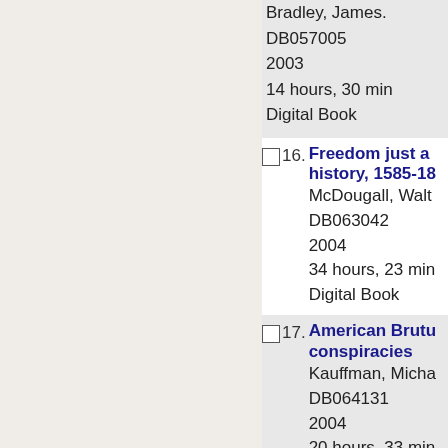Bradley, James. DB057005
2003
14 hours, 30 min
Digital Book
16. Freedom just a history, 1585-18...
McDougall, Walt...
DB063042
2004
34 hours, 23 min
Digital Book
17. American Brutu... conspiracies
Kauffman, Micha...
DB064131
2004
20 hours, 33 min
Digital Book
18. Just Americans...